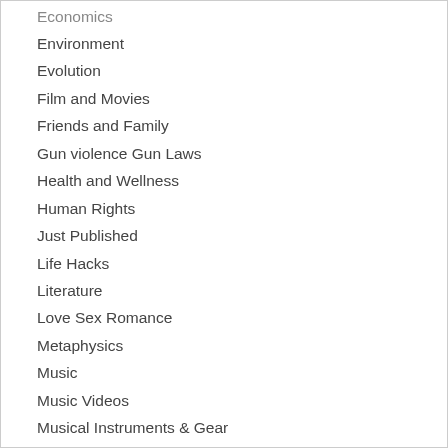Economics
Environment
Evolution
Film and Movies
Friends and Family
Gun violence Gun Laws
Health and Wellness
Human Rights
Just Published
Life Hacks
Literature
Love Sex Romance
Metaphysics
Music
Music Videos
Musical Instruments & Gear
Nature
New World Order
Paranormal and Supernatural
Personal Expression Age
Personal Life
Physics